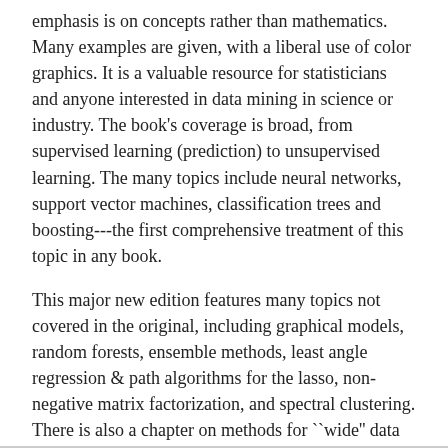emphasis is on concepts rather than mathematics. Many examples are given, with a liberal use of color graphics. It is a valuable resource for statisticians and anyone interested in data mining in science or industry. The book's coverage is broad, from supervised learning (prediction) to unsupervised learning. The many topics include neural networks, support vector machines, classification trees and boosting---the first comprehensive treatment of this topic in any book.
This major new edition features many topics not covered in the original, including graphical models, random forests, ensemble methods, least angle regression & path algorithms for the lasso, non-negative matrix factorization, and spectral clustering. There is also a chapter on methods for ``wide'' data (p bigger than n), including multiple testing and false discovery rates.